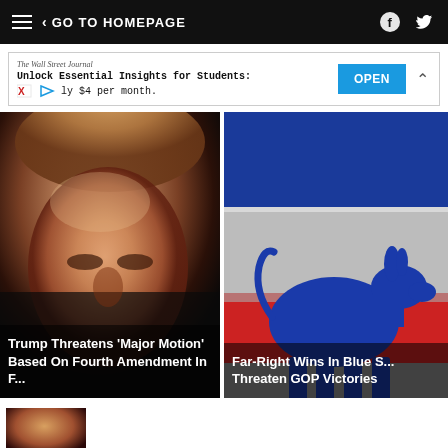< GO TO HOMEPAGE
[Figure (screenshot): Advertisement banner for The Wall Street Journal: 'Unlock Essential Insights for Students: ly $4 per month.' with OPEN button]
[Figure (photo): Close-up photo of Donald Trump with downcast eyes against dark background, with headline overlay: Trump Threatens 'Major Motion' Based On Fourth Amendment In F...]
[Figure (illustration): Democratic donkey silhouette in blue against striped red/white/gray background, with headline overlay: Far-Right Wins In Blue S... Threaten GOP Victories]
[Figure (photo): Partial thumbnail of a third article at the bottom of the page]